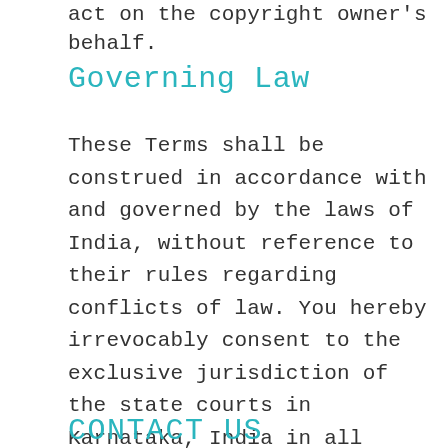act on the copyright owner's behalf.
Governing Law
These Terms shall be construed in accordance with and governed by the laws of India, without reference to their rules regarding conflicts of law. You hereby irrevocably consent to the exclusive jurisdiction of the state courts in Karnataka, India in all disputes arising out of or related to the use of the site.
CONTACT US